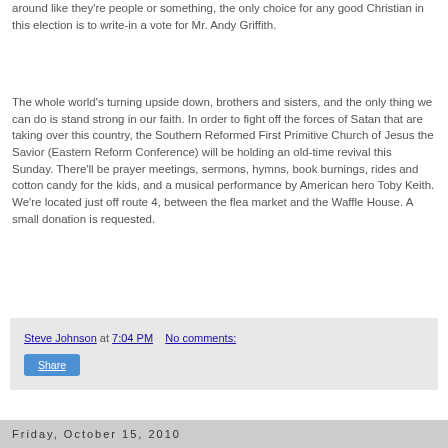around like they're people or something, the only choice for any good Christian in this election is to write-in a vote for Mr. Andy Griffith.
The whole world's turning upside down, brothers and sisters, and the only thing we can do is stand strong in our faith. In order to fight off the forces of Satan that are taking over this country, the Southern Reformed First Primitive Church of Jesus the Savior (Eastern Reform Conference) will be holding an old-time revival this Sunday. There'll be prayer meetings, sermons, hymns, book burnings, rides and cotton candy for the kids, and a musical performance by American hero Toby Keith. We're located just off route 4, between the flea market and the Waffle House. A small donation is requested.
Steve Johnson at 7:04 PM   No comments:
Share
Friday, October 15, 2010